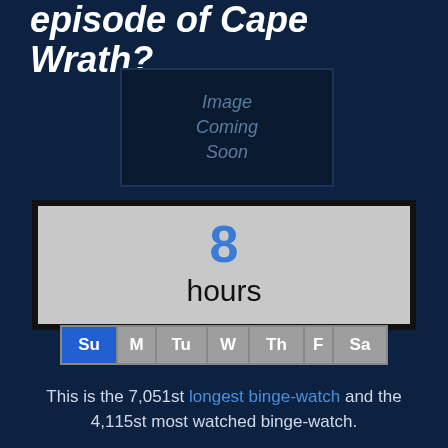episode of Cape Wrath?
[Figure (other): Image Coming Soon placeholder box]
8 hours
| Su | M | Tu | W | Th | F | Sa |
| --- | --- | --- | --- | --- | --- | --- |
This is the 7,051st longest binge-watch and the 4,115st most watched binge-watch.